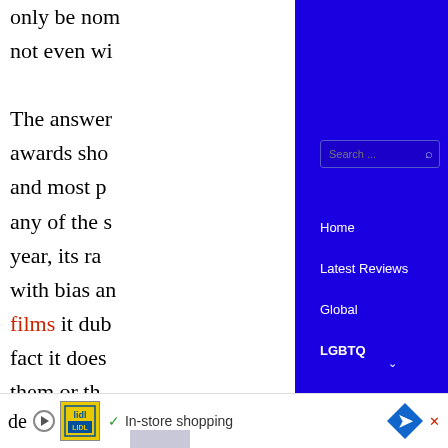only be nom
not even wi

The answer
awards sho
and most p
any of the s
year, its ra
with bias an
films it dub
fact it does
them or th
that could s
system of w
fitting the n
de
ca
[Figure (screenshot): Blue navigation overlay with search bar and menu links: Home, Latest Reviews, Global, LGBTQ (with chevron), Awards]
[Figure (screenshot): Bottom advertisement bar with Lidl logo, play button, 'In-store shopping' text with checkmark, and blue diamond navigation arrow]